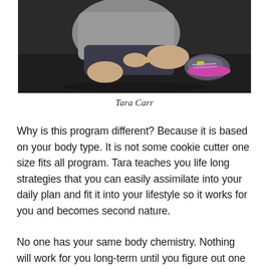[Figure (photo): A person sitting on the floor in athletic wear (gray shirt, dark shorts) with colorful sneakers visible, photographed from the torso down in a gym setting.]
Tara Carr
Why is this program different? Because it is based on your body type. It is not some cookie cutter one size fits all program. Tara teaches you life long strategies that you can easily assimilate into your daily plan and fit it into your lifestyle so it works for you and becomes second nature.
No one has your same body chemistry. Nothing will work for you long-term until you figure out one little